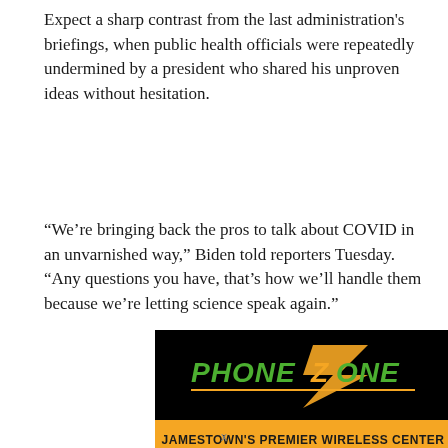Expect a sharp contrast from the last administration's briefings, when public health officials were repeatedly undermined by a president who shared his unproven ideas without hesitation.
“We’re bringing back the pros to talk about COVID in an unvarnished way,” Biden told reporters Tuesday. “Any questions you have, that’s how we’ll handle them because we’re letting science speak again.”
[Figure (advertisement): Phone Zone advertisement — Jamestown's Premier Wireless Center. Black background with green and orange logo text 'PHONE ZONE' and an orange banner with bold black text 'JAMESTOWN'S PREMIER WIRELESS CENTER'. Bottom section shows phones including a Samsung device on a dark blue background, with an orange chevron/arrow logo on the left.]
x